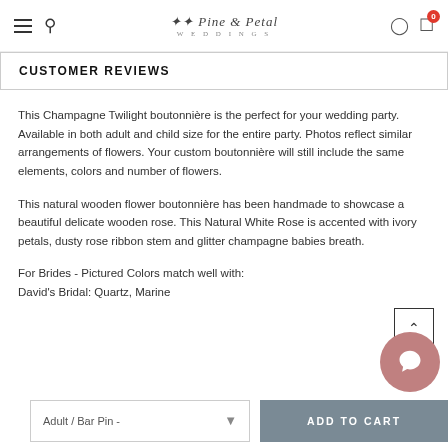Pine & Petal Weddings
CUSTOMER REVIEWS
This Champagne Twilight boutonnière is the perfect for your wedding party. Available in both adult and child size for the entire party. Photos reflect similar arrangements of flowers. Your custom boutonnière will still include the same elements, colors and number of flowers.
This natural wooden flower boutonnière has been handmade to showcase a beautiful delicate wooden rose. This Natural White Rose is accented with ivory petals, dusty rose ribbon stem and glitter champagne babies breath.
For Brides - Pictured Colors match well with:
David's Bridal: Quartz, Marine